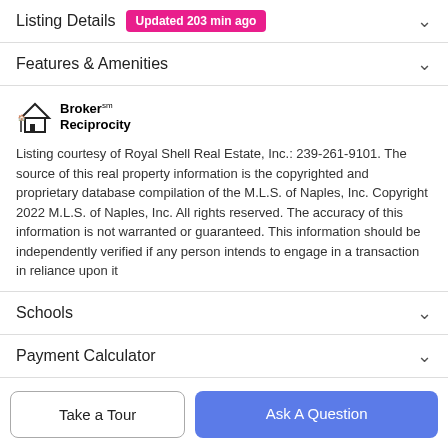Listing Details Updated 203 min ago
Features & Amenities
[Figure (logo): Broker Reciprocity logo with house icon]
Listing courtesy of Royal Shell Real Estate, Inc.: 239-261-9101. The source of this real property information is the copyrighted and proprietary database compilation of the M.L.S. of Naples, Inc. Copyright 2022 M.L.S. of Naples, Inc. All rights reserved. The accuracy of this information is not warranted or guaranteed. This information should be independently verified if any person intends to engage in a transaction in reliance upon it
Schools
Payment Calculator